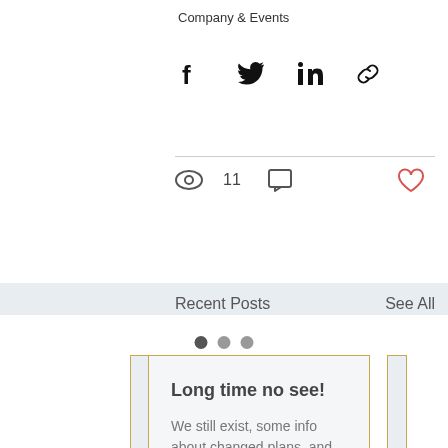Company & Events
[Figure (screenshot): Social share icons: Facebook, Twitter, LinkedIn, Link]
11
Recent Posts
See All
Long time no see!
We still exist, some info about changed plans, and yet another site update. [Read More]